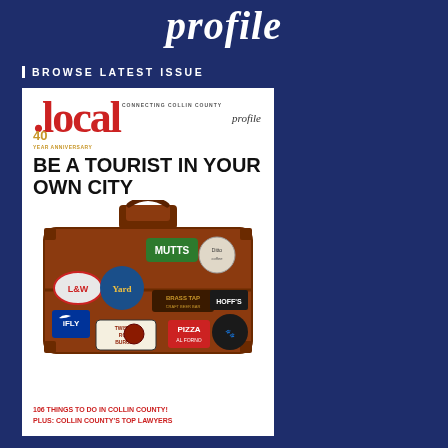profile
BROWSE LATEST ISSUE
[Figure (illustration): Magazine cover of .local profile, 40 year anniversary issue. Cover shows a vintage red/brown suitcase covered in brand stickers (MUTTS, Yard, L&W, BRASS TAP, HOFF'S, iFLY, Twisted Root Burger, Pizza, and others). Headline reads 'BE A TOURIST IN YOUR OWN CITY'. Footer text: '106 THINGS TO DO IN COLLIN COUNTY! PLUS: COLLIN COUNTY'S TOP LAWYERS']